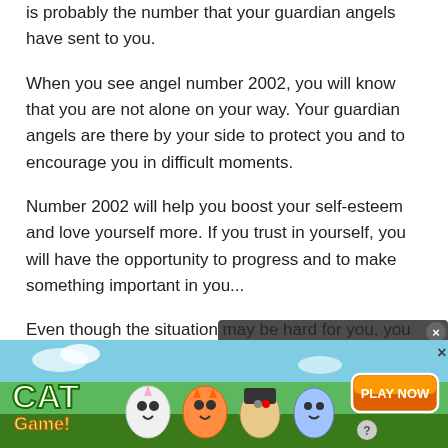is probably the number that your guardian angels have sent to you.
When you see angel number 2002, you will know that you are not alone on your way. Your guardian angels are there by your side to protect you and to encourage you in difficult moments.
Number 2002 will help you boost your self-esteem and love yourself more. If you trust in yourself, you will have the opportunity to progress and to make something important in you...
Even though the situation may be hard for you, you should never lose the faith in your guardian ange...
[Figure (screenshot): Video player overlay showing 'No compatible source was found for this media.' with a close button and X dismiss button, overlaid on a webpage about angel numbers with decorative Angel/Number text visible]
[Figure (infographic): Bottom banner advertisement for 'Cat Game' mobile game featuring animated cat characters and a 'PLAY NOW' orange button on a green grass background]